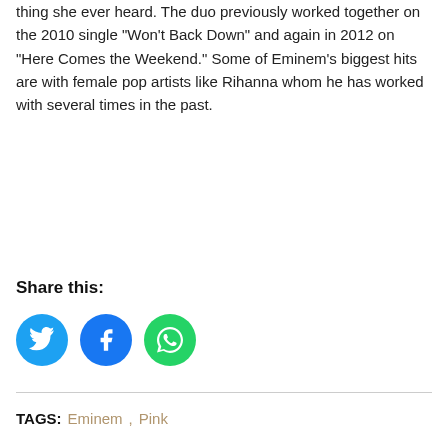thing she ever heard. The duo previously worked together on the 2010 single “Won’t Back Down” and again in 2012 on “Here Comes the Weekend.” Some of Eminem’s biggest hits are with female pop artists like Rihanna whom he has worked with several times in the past.
Share this:
[Figure (other): Three social media share icon buttons: Twitter (blue bird icon), Facebook (blue f icon), WhatsApp (green phone icon)]
TAGS: Eminem, Pink